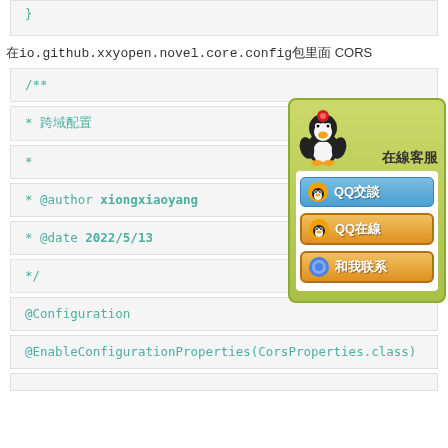在io.github.xxyopen.novel.core.config包里面 CORS
/**
* 跨域配置
*
* @author xiongxiaoyang
* @date 2022/5/13
*/
@Configuration
@EnableConfigurationProperties(CorsProperties.class)
[Figure (other): QQ online customer service widget showing a cartoon penguin and buttons for QQ chat, QQ online, and contact]